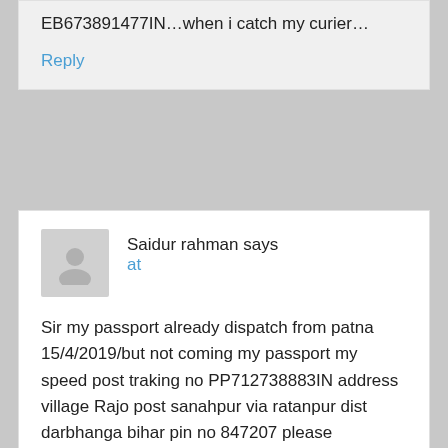EB673891477IN…when i catch my curier…
Reply
Saidur rahman says
at
Sir my passport already dispatch from patna 15/4/2019/but not coming my passport my speed post traking no PP712738883IN address village Rajo post sanahpur via ratanpur dist darbhanga bihar pin no 847207 please